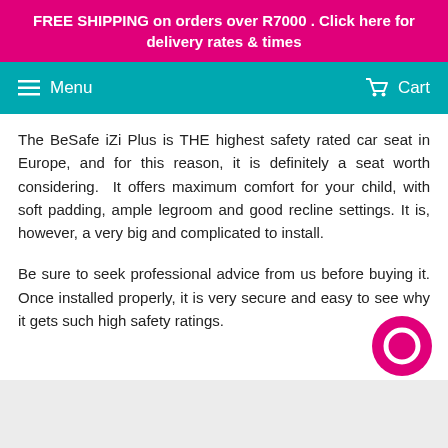FREE SHIPPING on orders over R7000 . Click here for delivery rates & times
Menu  Cart
The BeSafe iZi Plus is THE highest safety rated car seat in Europe, and for this reason, it is definitely a seat worth considering. It offers maximum comfort for your child, with soft padding, ample legroom and good recline settings. It is, however, a very big and complicated to install.
Be sure to seek professional advice from us before buying it. Once installed properly, it is very secure and easy to see why it gets such high safety ratings.